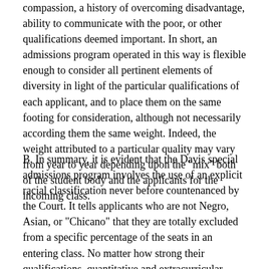compassion, a history of overcoming disadvantage, ability to communicate with the poor, or other qualifications deemed important. In short, an admissions program operated in this way is flexible enough to consider all pertinent elements of diversity in light of the particular qualifications of each applicant, and to place them on the same footing for consideration, although not necessarily according them the same weight. Indeed, the weight attributed to a particular quality may vary from year to year depending upon the "mix" both of the student body and the applicants for the incoming class.
B. In summary, it is evident that the Davis special admissions program involves the use of an explicit racial classification never before countenanced by the Court. It tells applicants who are not Negro, Asian, or "Chicano" that they are totally excluded from a specific percentage of the seats in an entering class. No matter how strong their qualifications, quantitative and extracurricular, including their own potential for contribution to educational diversity, they are never afforded the chance to compete with applicants from the preferred groups for the special admissions seats. At the same time, the preferred applicants have the